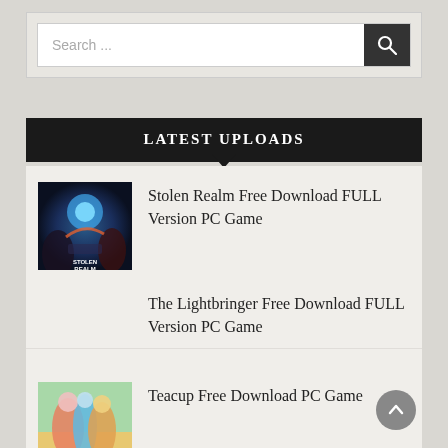Search ...
LATEST UPLOADS
[Figure (screenshot): Stolen Realm game cover thumbnail - fantasy art with blue orb and characters]
Stolen Realm Free Download FULL Version PC Game
The Lightbringer Free Download FULL Version PC Game
[Figure (screenshot): Teacup game cover thumbnail - colorful characters with animals]
Teacup Free Download PC Game